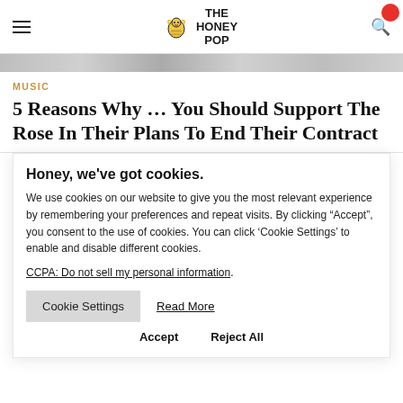THE HONEY POP
MUSIC
5 Reasons Why … You Should Support The Rose In Their Plans To End Their Contract
Honey, we've got cookies.
We use cookies on our website to give you the most relevant experience by remembering your preferences and repeat visits. By clicking "Accept", you consent to the use of cookies. You can click 'Cookie Settings' to enable and disable different cookies.
CCPA: Do not sell my personal information.
Cookie Settings  Read More
Accept  Reject All